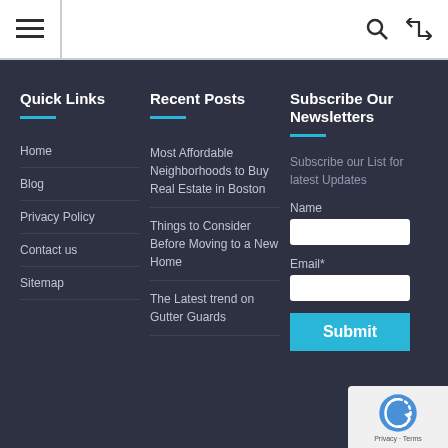≡  🔍  ⇌
Quick Links
Home
Blog
Privacy Policy
Contact us
Sitemap
Recent Posts
Most Affordable Neighborhoods to Buy Real Estate in Boston
Things to Consider Before Moving to a New Home
The Latest trend on Gutter Guards
Subscribe Our Newsletters
Subscribe our List for latest Updates
Name
Email*
Submit